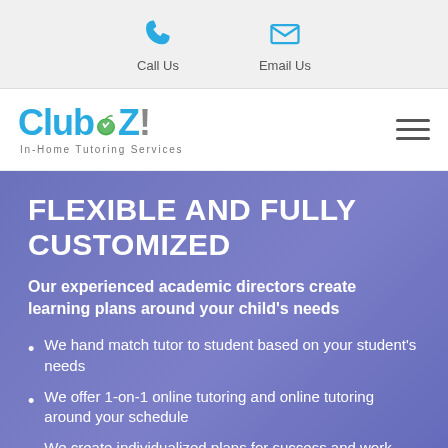Call Us  Email Us
[Figure (logo): Club Z! In-Home Tutoring Services logo with hamburger menu icon]
FLEXIBLE AND FULLY CUSTOMIZED
Our experienced academic directors create learning plans around your child's needs
We hand match tutor to student based on your student's needs
We offer 1-on-1 online tutoring and online tutoring around your schedule
We create individualized plans for success and work with your teachers to ensure it